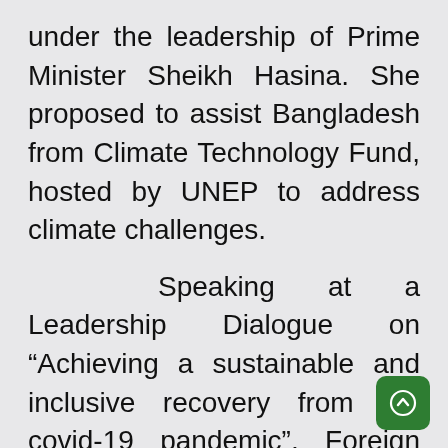under the leadership of Prime Minister Sheikh Hasina. She proposed to assist Bangladesh from Climate Technology Fund, hosted by UNEP to address climate challenges.
Speaking at a Leadership Dialogue on “Achieving a sustainable and inclusive recovery from the covid-19 pandemic”, Foreign Minister suggested to overcome the divis[ion] between technology and econo[mic] interests and strengthen